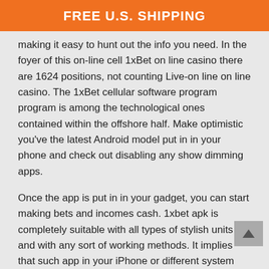FREE U.S. SHIPPING
making it easy to hunt out the info you need. In the foyer of this on-line cell 1xBet on line casino there are 1624 positions, not counting Live-on line on line casino. The 1xBet cellular software program program is among the technological ones contained within the offshore half. Make optimistic you've the latest Android model put in in your phone and check out disabling any show dimming apps.
Once the app is put in in your gadget, you can start making bets and incomes cash. 1xbet apk is completely suitable with all types of stylish units and with any sort of working methods. It implies that such app in your iPhone or different system provides a assure of a cushty betting. Furthermore, 1xbet moreover organized for purchasers who're clients of Windows-run gadgets. Hence, this course of could presumably be quite easy whether or not or not you wish to benefit from sports activities activities or on line casino titles. The following is the technique of tips on how to place a guess